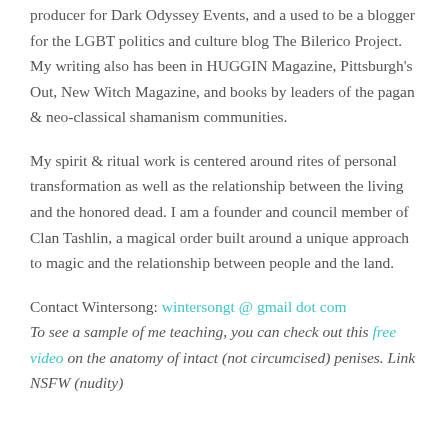producer for Dark Odyssey Events, and a used to be a blogger for the LGBT politics and culture blog The Bilerico Project. My writing also has been in HUGGIN Magazine, Pittsburgh's Out, New Witch Magazine, and books by leaders of the pagan & neo-classical shamanism communities.
My spirit & ritual work is centered around rites of personal transformation as well as the relationship between the living and the honored dead. I am a founder and council member of Clan Tashlin, a magical order built around a unique approach to magic and the relationship between people and the land.
Contact Wintersong: wintersongt @ gmail dot com
To see a sample of me teaching, you can check out this free video on the anatomy of intact (not circumcised) penises. Link NSFW (nudity)